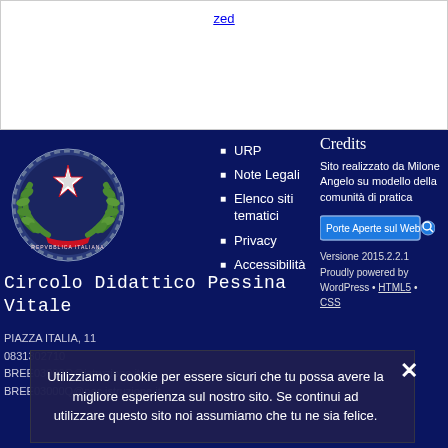zed
[Figure (logo): Italian Republic emblem - coat of arms with star, laurel wreath, and gear on dark blue background]
URP
Note Legali
Elenco siti tematici
Privacy
Accessibilità
Credits
Sito realizzato da Milone Angelo su modello della comunità di pratica
Porte Aperte sul Web
Versione 2015.2.2.1
Proudly powered by WordPress • HTML5 • CSS
Circolo Didattico Pessina Vitale
PIAZZA ITALIA, 11
0831302710
BREE03000Q@istruzione.it
BREE03000Q@pec.istruzione.it
Utilizziamo i cookie per essere sicuri che tu possa avere la migliore esperienza sul nostro sito. Se continui ad utilizzare questo sito noi assumiamo che tu ne sia felice.